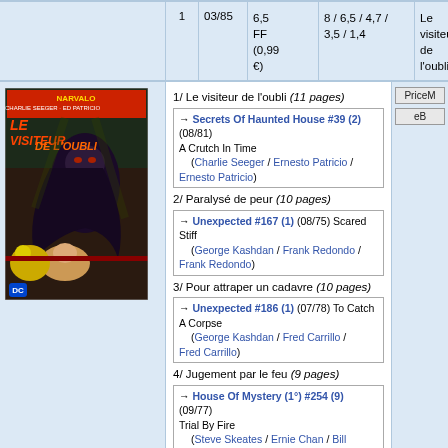|  | 1 | 03/85 | 6,5 FF (0,99 €) | 8 / 6,5 / 4,7 / 3,5 / 1,4 | Le visiteur de l'oubli |
| --- | --- | --- | --- | --- | --- |
[Figure (photo): Comic book cover: Narvalo Le Visiteur de l'Oubli, DC Comics, horror anthology featuring dark monster imagery]
1/ Le visiteur de l'oubli (11 pages)
→ Secrets Of Haunted House #39 (2) (08/81) A Crutch In Time (Charlie Seeger / Ernesto Patricio / Ernesto Patricio)
2/ Paralysé de peur (10 pages)
→ Unexpected #167 (1) (08/75) Scared Stiff (George Kashdan / Frank Redondo / Frank Redondo)
3/ Pour attraper un cadavre (10 pages)
→ Unexpected #186 (1) (07/78) To Catch A Corpse (George Kashdan / Fred Carrillo / Fred Carrillo)
4/ Jugement par le feu (9 pages)
→ House Of Mystery (1°) #254 (9) (09/77) Trial By Fire (Steve Skeates / Ernie Chan / Bill Draut)
5/ La vengeance de vaudou Annie (16 pages)
→ House Of Mystery (1°) #227 (2) (10/74) The Vengeance Of Voodoo Annie (Michael Fleisher, Russell Carley / Nestor Redondo / Nestor Redondo)